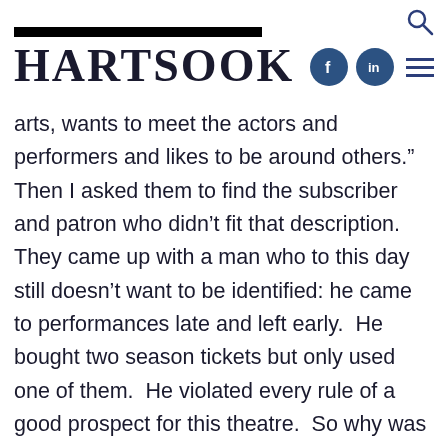Hartsook
arts, wants to meet the actors and performers and likes to be around others.”  Then I asked them to find the subscriber and patron who didn’t fit that description.  They came up with a man who to this day still doesn’t want to be identified: he came to performances late and left early.  He bought two season tickets but only used one of them.  He violated every rule of a good prospect for this theatre.  So why was he there? We got acquainted and learned that he and his wife had gone to the theatre together for years until she died ten years earlier.  He went and kept her seat because it was still their time together.  He loved the theatre but was not on anyone’s